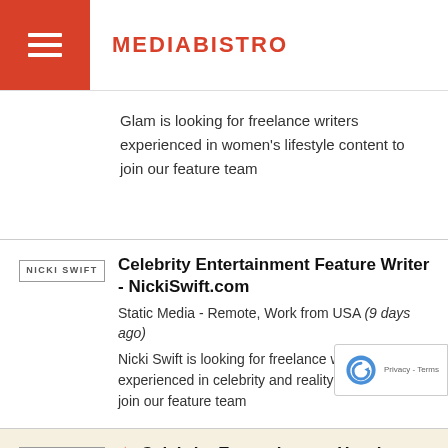MEDIABISTRO
Glam is looking for freelance writers experienced in women's lifestyle content to join our feature team
Celebrity Entertainment Feature Writer - NickiSwift.com
Static Media - Remote, Work from USA (9 days ago)
Nicki Swift is looking for freelance writers experienced in celebrity and reality TV content to join our feature team
Celebrity Entertainment Hourly Feature Writer - NickiSwift.com